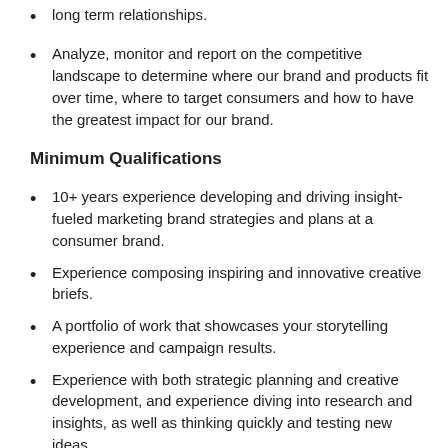long term relationships.
Analyze, monitor and report on the competitive landscape to determine where our brand and products fit over time, where to target consumers and how to have the greatest impact for our brand.
Minimum Qualifications
10+ years experience developing and driving insight-fueled marketing brand strategies and plans at a consumer brand.
Experience composing inspiring and innovative creative briefs.
A portfolio of work that showcases your storytelling experience and campaign results.
Experience with both strategic planning and creative development, and experience diving into research and insights, as well as thinking quickly and testing new ideas.
Experience working in highly-cross functional and complex organizations, collaborating with creative, research, measurement and marketing channels counterparts, where influence as well as direct responsibility matter in equal measure.
Experience in a lifetime membership informational...